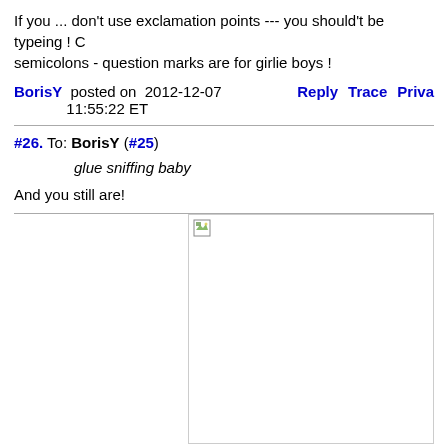If you ... don't use exclamation points --- you should't be typeing ! C semicolons - question marks are for girlie boys !
BorisY posted on 2012-12-07 11:55:22 ET Reply Trace Priva
#26. To: BorisY (#25)
glue sniffing baby
And you still are!
[Figure (photo): Broken image placeholder with small image icon in top-left corner]